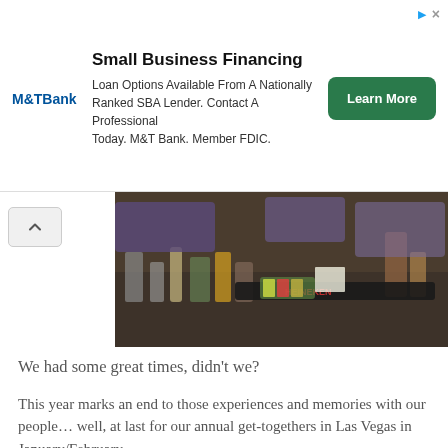[Figure (infographic): M&T Bank advertisement banner: Small Business Financing. Loan Options Available From A Nationally Ranked SBA Lender. Contact A Professional Today. M&T Bank. Member FDIC. Learn More button.]
[Figure (photo): Photo of people at a bar counter with drinks and bar supplies on a reflective surface.]
We had some great times, didn't we?
This year marks an end to those experiences and memories with our people… well, at last for our annual get-togethers in Las Vegas in January/February.
We'll just have to make other plans in the future to catch up and laugh and cry and have a blast.